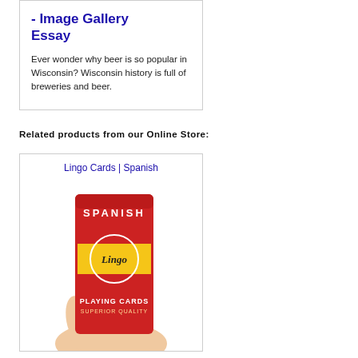- Image Gallery Essay
Ever wonder why beer is so popular in Wisconsin? Wisconsin history is full of breweries and beer.
Related products from our Online Store:
Lingo Cards | Spanish
[Figure (photo): A hand holding a red box of Lingo Spanish Playing Cards with 'SUPERIOR QUALITY' text and the Spanish flag design on the front.]